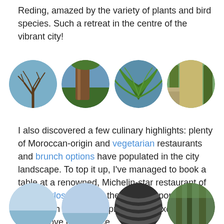Reding, amazed by the variety of plants and bird species. Such a retreat in the centre of the vibrant city!
[Figure (photo): Four circular cropped photos of trees and plants in a park — bare tree branches against blue sky, tree trunk close-up, palm fronds, and a shaded park path.]
I also discovered a few culinary highlights: plenty of Moroccan-origin and vegetarian restaurants and brunch options have populated in the city landscape. To top it up, I've managed to book a table at a renowned, Michelin-star restaurant of José Carlos García in the beautiful port: Muelle Uno which was not surprisingly an exquisite, white-glove experience.
[Figure (photo): Four circular cropped photos partially visible at the bottom — two appear to show sky/water views, one shows curved dark architectural structure, one shows trees.]